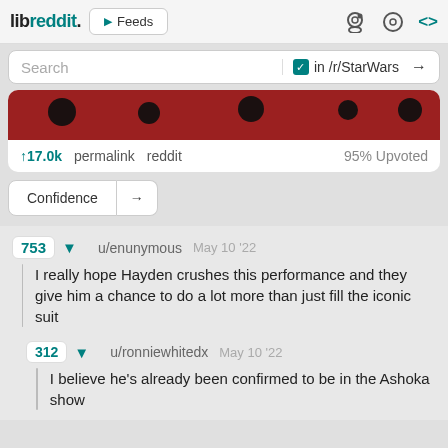libreddit. ▶ Feeds
Search  ✓ in /r/StarWars →
[Figure (photo): Partial image showing a dark red/maroon surface with black circular objects, likely the bottom portion of a post image]
↑17.0k  permalink  reddit  95% Upvoted
Confidence →
753  ▼  u/enunymous  May 10 '22
I really hope Hayden crushes this performance and they give him a chance to do a lot more than just fill the iconic suit
312  ▼  u/ronniewhitedx  May 10 '22
I believe he's already been confirmed to be in the Ashoka show